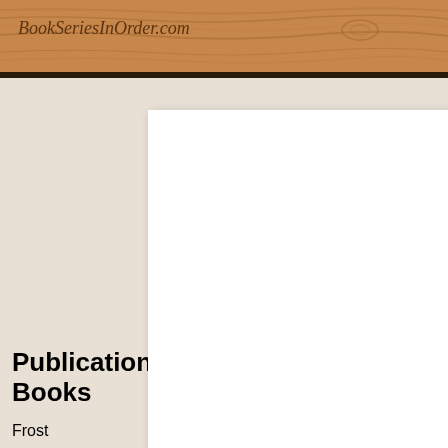BookSeriesInOrder.com
[Figure (photo): White blank book cover on a wood-grain and beige background]
Publication Order of Midnight Ice Books
Frost   (2017) Hardcover  Paperback  Kindle